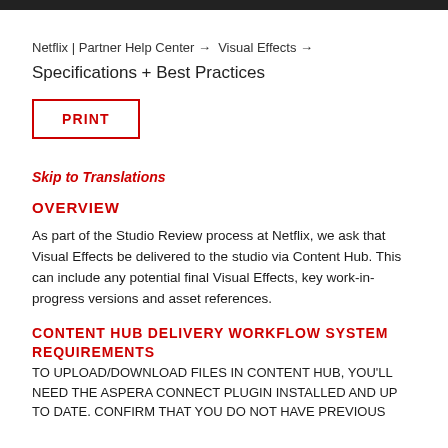Netflix | Partner Help Center → Visual Effects →
Specifications + Best Practices
PRINT
Skip to Translations
OVERVIEW
As part of the Studio Review process at Netflix, we ask that Visual Effects be delivered to the studio via Content Hub. This can include any potential final Visual Effects, key work-in-progress versions and asset references.
CONTENT HUB DELIVERY WORKFLOW SYSTEM REQUIREMENTS
TO UPLOAD/DOWNLOAD FILES IN CONTENT HUB, YOU'LL NEED THE ASPERA CONNECT PLUGIN INSTALLED AND UP TO DATE. CONFIRM THAT YOU DO NOT HAVE PREVIOUS